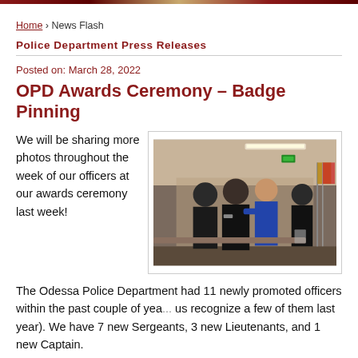Home › News Flash
Police Department Press Releases
Posted on: March 28, 2022
OPD Awards Ceremony – Badge Pinning
We will be sharing more photos throughout the week of our officers at our awards ceremony last week!
[Figure (photo): Police officers in uniform at an awards/badge pinning ceremony indoors, with a woman in a blue outfit pinning a badge on an officer, flags visible in background.]
The Odessa Police Department had 11 newly promoted officers within the past couple of years (you saw us recognize a few of them last year). We have 7 new Sergeants, 3 new Lieutenants, and 1 new Captain.